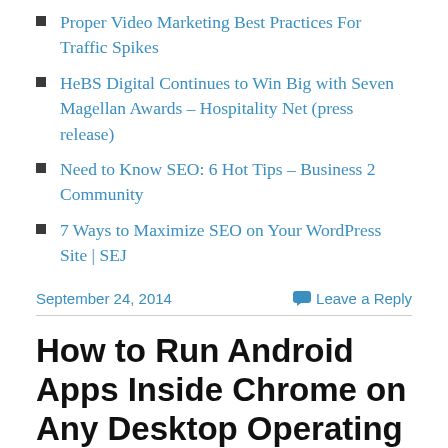Proper Video Marketing Best Practices For Traffic Spikes
HeBS Digital Continues to Win Big with Seven Magellan Awards – Hospitality Net (press release)
Need to Know SEO: 6 Hot Tips – Business 2 Community
7 Ways to Maximize SEO on Your WordPress Site | SEJ
September 24, 2014
Leave a Reply
How to Run Android Apps Inside Chrome on Any Desktop Operating System – Lifehacker